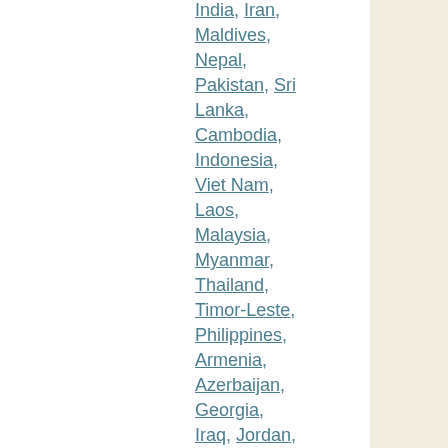India,
Iran,
Maldives,
Nepal,
Pakistan,
Sri Lanka,
Cambodia,
Indonesia,
Viet Nam,
Laos,
Malaysia,
Myanmar,
Thailand,
Timor-Leste,
Philippines,
Armenia,
Azerbaijan,
Georgia,
Iraq,
Jordan,
Lebanon,
Palestinian Territory,
Syria,